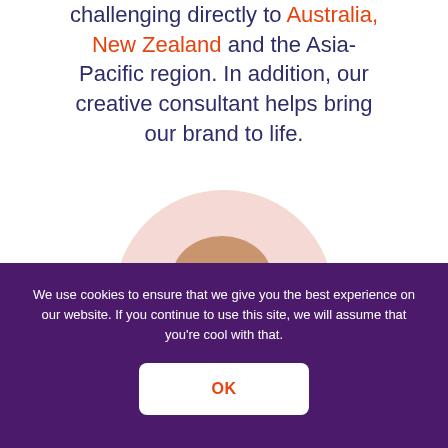challenging directly to Australia, New Zealand and the Asia-Pacific region. In addition, our creative consultant helps bring our brand to life.
[Figure (photo): Circular portrait photo of a bald man with glasses and a beard, against a light pink circular background.]
We use cookies to ensure that we give you the best experience on our website. If you continue to use this site, we will assume that you're cool with that.
OK